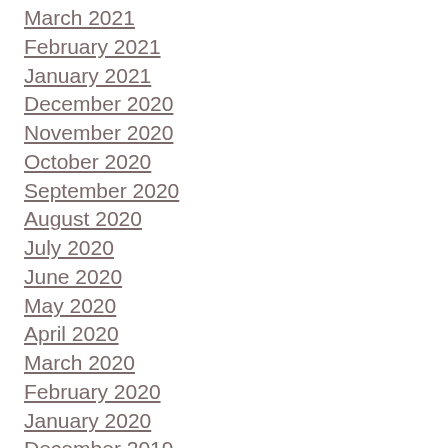March 2021
February 2021
January 2021
December 2020
November 2020
October 2020
September 2020
August 2020
July 2020
June 2020
May 2020
April 2020
March 2020
February 2020
January 2020
December 2019
November 2019
October 2019
September 2019